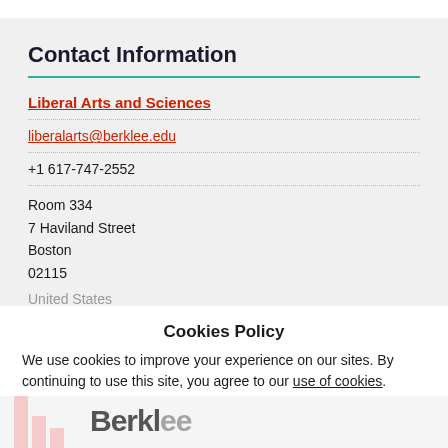Contact Information
Liberal Arts and Sciences
liberalarts@berklee.edu
+1 617-747-2552
Room 334
7 Haviland Street
Boston
02115
United States
Cookies Policy
We use cookies to improve your experience on our sites. By continuing to use this site, you agree to our use of cookies.